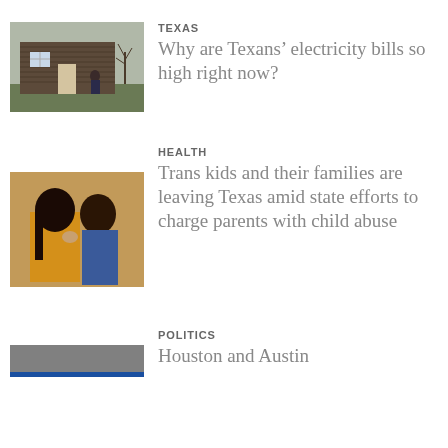TEXAS
Why are Texans’ electricity bills so high right now?
[Figure (photo): Woman standing in front of a small house with siding, bare trees in background]
HEALTH
Trans kids and their families are leaving Texas amid state efforts to charge parents with child abuse
[Figure (photo): Two children, one with dark hair, embracing or close together]
POLITICS
Houston and Austin